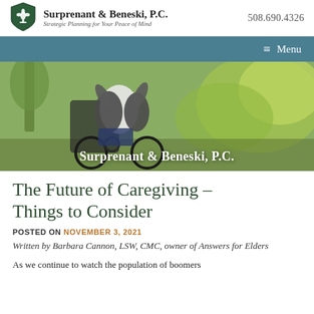Surprenant & Beneski, P.C. | Strategic Planning for Your Peace of Mind | 508.690.4326
[Figure (logo): Green shield fleur-de-lis logo for Surprenant & Beneski, P.C.]
[Figure (photo): Person in a wheelchair outdoors in a green garden setting, with text overlay reading Surprenant & Beneski, P.C.]
The Future of Caregiving – Things to Consider
POSTED ON NOVEMBER 3, 2021
Written by Barbara Cannon, LSW, CMC, owner of Answers for Elders
As we continue to watch the population of boomers...